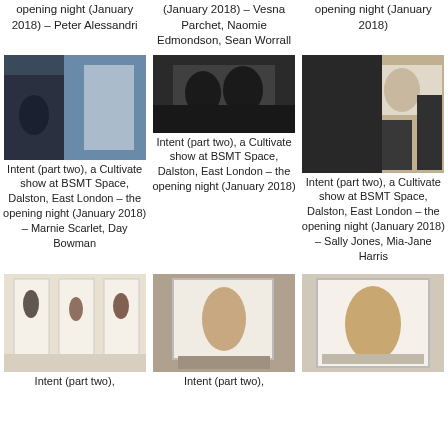opening night (January 2018) – Peter Alessandri
Intent (part two), a Cultivate show at BSMT Space, Dalston, East London – the opening night (January 2018) – Vesna Parchet, Naomie Edmondson, Sean Worrall
opening night (January 2018)
[Figure (photo): Photo from the opening night of Intent (part two) at BSMT Space, showing artwork on walls]
[Figure (photo): Photo from the opening night of Intent (part two) at BSMT Space, showing crowd]
[Figure (photo): Photo from the opening night of Intent (part two) at BSMT Space, showing artwork]
Intent (part two), a Cultivate show at BSMT Space, Dalston, East London – the opening night (January 2018) – Marnie Scarlet, Day Bowman
Intent (part two), a Cultivate show at BSMT Space, Dalston, East London – the opening night (January 2018)
Intent (part two), a Cultivate show at BSMT Space, Dalston, East London – the opening night (January 2018) – Sally Jones, Mia-Jane Harris
[Figure (photo): Photo of sculptural works in niches at Intent (part two)]
[Figure (photo): Photo of a sculptural work in a niche at Intent (part two)]
[Figure (photo): Photo of a sculptural work in a white frame at Intent (part two)]
Intent (part two),
Intent (part two),